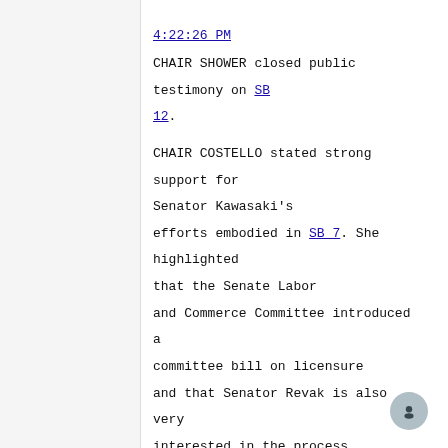4:22:26 PM
CHAIR SHOWER closed public testimony on SB 12.
CHAIR COSTELLO stated strong support for Senator Kawasaki's efforts embodied in SB 7. She highlighted that the Senate Labor and Commerce Committee introduced a committee bill on licensure and that Senator Revak is also very interested in the process. She emphasized that improving the process for individuals to receive professional licensure in order to work in Alaska is a priority. She noted that she and others